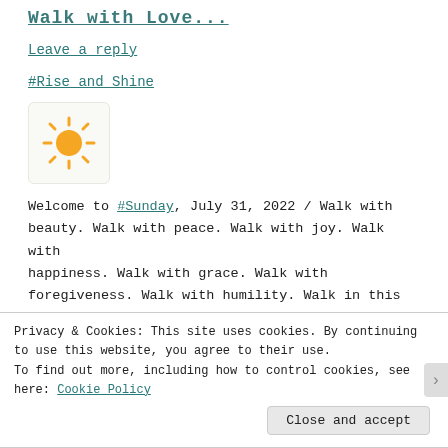Walk with Love...
Leave a reply
#Rise_and_Shine
[Figure (illustration): Sun emoji icon with orange sun and rays on a light background square]
Welcome to #Sunday, July 31, 2022 / Walk with beauty. Walk with peace. Walk with joy. Walk with happiness. Walk with grace. Walk with foregiveness. Walk with humility. Walk in this world with your whole self – each day. Walk with
Privacy & Cookies: This site uses cookies. By continuing to use this website, you agree to their use. To find out more, including how to control cookies, see here: Cookie Policy
Close and accept